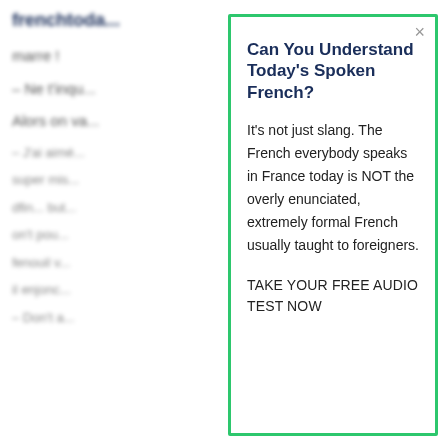frenchtoda...
marre !
– Ne t'inqu...
Alors on va...
Can You Understand Today's Spoken French?
It's not just slang. The French everybody speaks in France today is NOT the overly enunciated, extremely formal French usually taught to foreigners.
TAKE YOUR FREE AUDIO TEST NOW